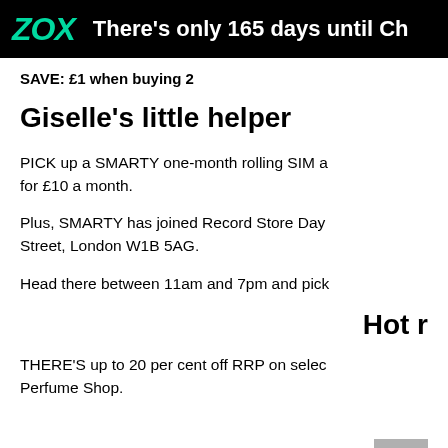ZOX  There's only 165 days until Ch
SAVE: £1 when buying 2
Giselle's little helper
PICK up a SMARTY one-month rolling SIM a for £10 a month.
Plus, SMARTY has joined Record Store Day Street, London W1B 5AG.
Head there between 11am and 7pm and pick
Hot r
THERE'S up to 20 per cent off RRP on selec Perfume Shop.